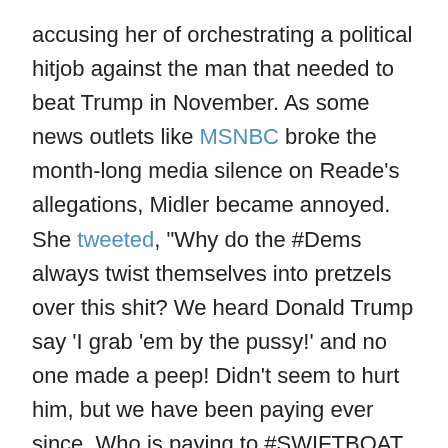accusing her of orchestrating a political hitjob against the man that needed to beat Trump in November. As some news outlets like MSNBC broke the month-long media silence on Reade's allegations, Midler became annoyed. She tweeted, “Why do the #Dems always twist themselves into pretzels over this shit? We heard Donald Trump say ‘I grab ’em by the pussy!’ and no one made a peep! Didn’t seem to hurt him, but we have been paying ever since. Who is paying to #SWIFTBOAT Joe Biden??”
So much for believing victims. It seems she wants their stories buried, at least if we are judging by her Kavanaugh standard. In this case, wasn’t Midler doing her part in making another woman an “n-word of the